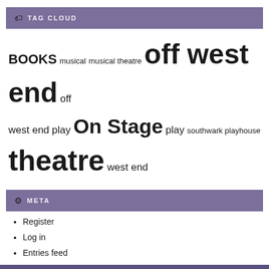TAG CLOUD
BOOKS musical musical theatre off west end off west end play On Stage play southwark playhouse theatre west end
META
Register
Log in
Entries feed
Comments feed
WordPress.com